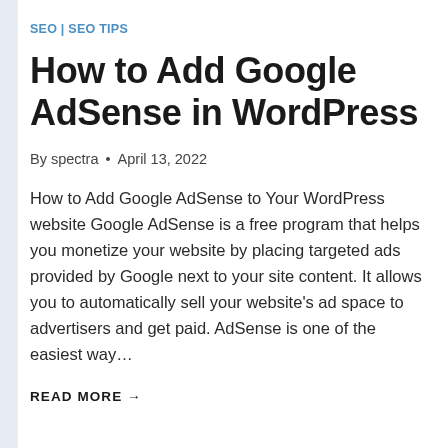SEO | SEO TIPS
How to Add Google AdSense in WordPress
By spectra • April 13, 2022
How to Add Google AdSense to Your WordPress website Google AdSense is a free program that helps you monetize your website by placing targeted ads provided by Google next to your site content. It allows you to automatically sell your website's ad space to advertisers and get paid. AdSense is one of the easiest way…
READ MORE →